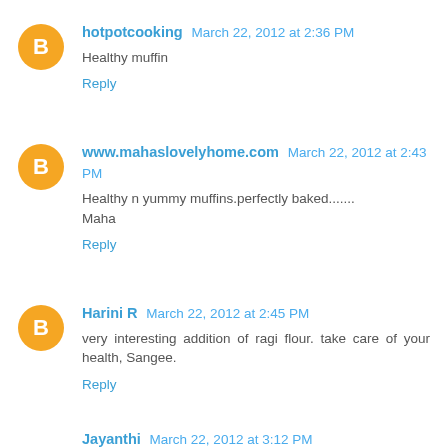hotpotcooking March 22, 2012 at 2:36 PM
Healthy muffin
Reply
www.mahaslovelyhome.com March 22, 2012 at 2:43 PM
Healthy n yummy muffins.perfectly baked.......
Maha
Reply
Harini R March 22, 2012 at 2:45 PM
very interesting addition of ragi flour. take care of your health, Sangee.
Reply
Jayanthi March 22, 2012 at 3:12 PM